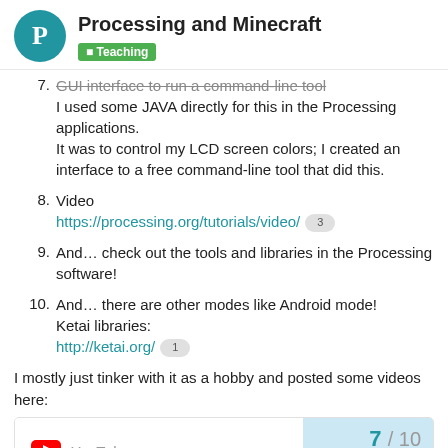Processing and Minecraft — Teaching
7. GUI interface to run a command-line tool
I used some JAVA directly for this in the Processing applications.
It was to control my LCD screen colors; I created an interface to a free command-line tool that did this.
8. Video
https://processing.org/tutorials/video/ 3
9. And… check out the tools and libraries in the Processing software!
10. And… there are other modes like Android mode!
Ketai libraries:
http://ketai.org/ 1
I mostly just tinker with it as a hobby and posted some videos here:
[Figure (screenshot): YouTube video preview card with page navigation showing 7 / 10]